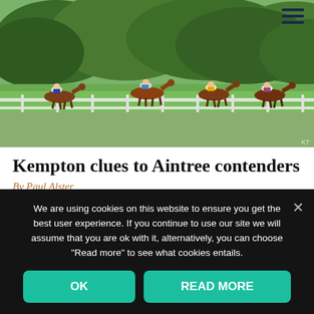[Figure (photo): Horse racing photo showing several horses and jockeys racing on a track with white fencing, green grass infield, and a dense green tree line in the background.]
Kempton clues to Aintree contenders
By Paul Alster
We are using cookies on this website to ensure you get the best user experience. If you continue to use our site we will assume that you are ok with it, alternatively, you can choose "Read more" to see what cookies entails.
OK
READ MORE